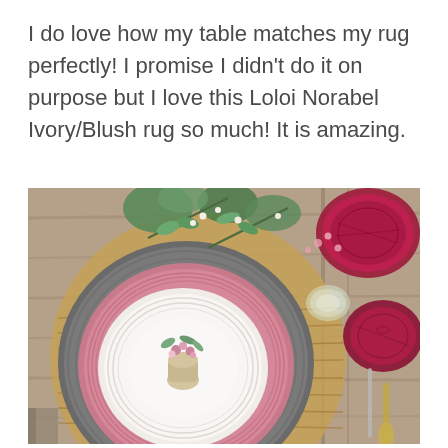I do love how my table matches my rug perfectly! I promise I didn't do it on purpose but I love this Loloi Norabel Ivory/Blush rug so much! It is amazing.
[Figure (photo): Overhead view of a beautifully set dining table on a rustic wood surface. The place setting features stacked plates: a large charger plate, a pink ribbed dinner plate, and a white ribbed plate on top. A small ceramic vessel holds pink and white wildflowers with eucalyptus leaves. A woven rattan placemat is partially visible behind the plates. To the right are two cranberry/ruby red etched glass goblets, a clear glass, and gold-toned silverware. White small flowers and eucalyptus greenery are arranged across the table as decoration.]